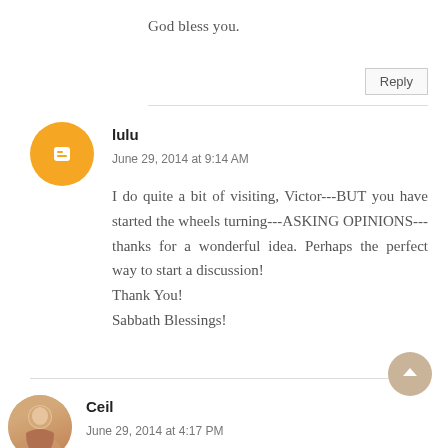God bless you.
Reply
lulu
June 29, 2014 at 9:14 AM
I do quite a bit of visiting, Victor---BUT you have started the wheels turning---ASKING OPINIONS---thanks for a wonderful idea. Perhaps the perfect way to start a discussion!
Thank You!
Sabbath Blessings!
Ceil
June 29, 2014 at 4:17 PM